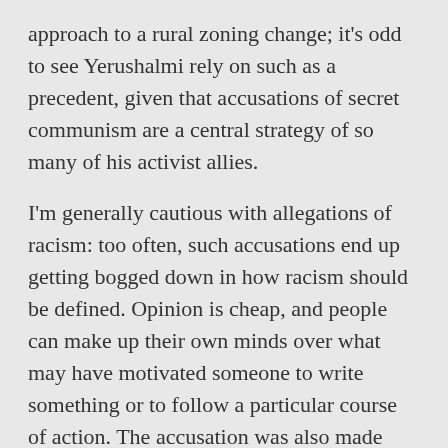approach to a rural zoning change; it's odd to see Yerushalmi rely on such as a precedent, given that accusations of secret communism are a central strategy of so many of his activist allies.
I'm generally cautious with allegations of racism: too often, such accusations end up getting bogged down in how racism should be defined. Opinion is cheap, and people can make up their own minds over what may have motivated someone to write something or to follow a particular course of action. The accusation was also made against Yerushalmi by Mother Jones.
In his own defence, Silverstein draws attention to one particular passage by Yerushalmi:
...Our constitutional republic was specifically designed to insulate our national leaders from